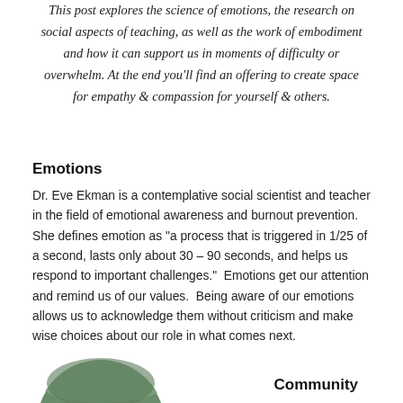This post explores the science of emotions, the research on social aspects of teaching, as well as the work of embodiment and how it can support us in moments of difficulty or overwhelm. At the end you'll find an offering to create space for empathy & compassion for yourself & others.
Emotions
Dr. Eve Ekman is a contemplative social scientist and teacher in the field of emotional awareness and burnout prevention.  She defines emotion as "a process that is triggered in 1/25 of a second, lasts only about 30 – 90 seconds, and helps us respond to important challenges."  Emotions get our attention and remind us of our values.  Being aware of our emotions allows us to acknowledge them without criticism and make wise choices about our role in what comes next.
[Figure (photo): Circular photo at bottom left of page, partially visible]
Community